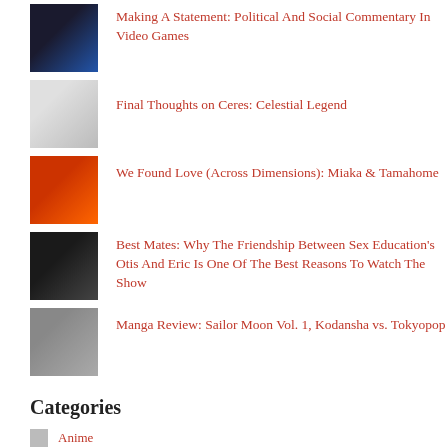Making A Statement: Political And Social Commentary In Video Games
Final Thoughts on Ceres: Celestial Legend
We Found Love (Across Dimensions): Miaka & Tamahome
Best Mates: Why The Friendship Between Sex Education's Otis And Eric Is One Of The Best Reasons To Watch The Show
Manga Review: Sailor Moon Vol. 1, Kodansha vs. Tokyopop
Categories
Anime